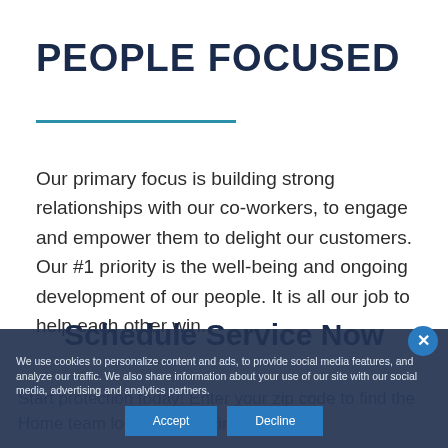PEOPLE FOCUSED
Our primary focus is building strong relationships with our co-workers, to engage and empower them to delight our customers. Our #1 priority is the well-being and ongoing development of our people. It is all our job to help each other win.
Schedule Service Now
Start protection today! Enter your zip code to find the Home team location servicing your area
We use cookies to personalize content and ads, to provide social media features, and analyze our traffic. We also share information about your use of our site with our social media, advertising and analytics partners.